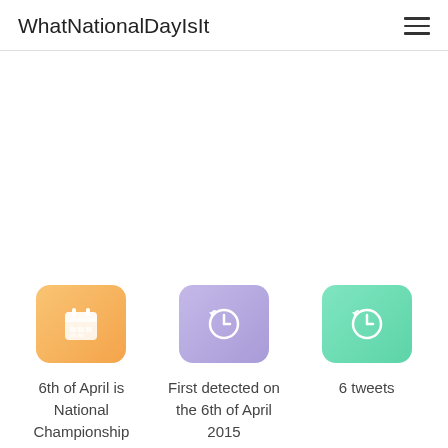WhatNationalDayIsIt
[Figure (infographic): Three info cards with icons: orange calendar icon with text '6th of April is National Championship', purple history/clock icon with text 'First detected on the 6th of April 2015', green history/clock icon with text '6 tweets']